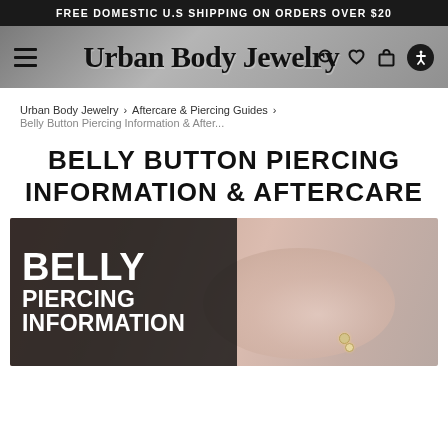FREE DOMESTIC U.S SHIPPING ON ORDERS OVER $20
[Figure (screenshot): Urban Body Jewelry website navigation bar with hamburger menu, script logo, search, wishlist, cart, and accessibility icons on a grey textured background]
Urban Body Jewelry › Aftercare & Piercing Guides › Belly Button Piercing Information & After...
BELLY BUTTON PIERCING INFORMATION & AFTERCARE
[Figure (photo): Hero image showing a belly button piercing with jewelry. Dark overlay on the left side with white bold text reading BELLY PIERCING INFORMATION]